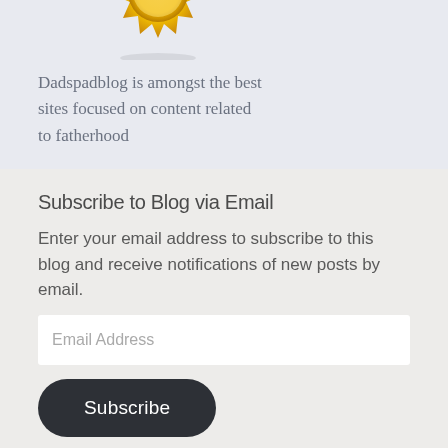[Figure (illustration): Gold badge/seal award icon, partially visible at the top of the page]
Dadspadblog is amongst the best sites focused on content related to fatherhood
Subscribe to Blog via Email
Enter your email address to subscribe to this blog and receive notifications of new posts by email.
Email Address
Subscribe
Join 16,355 other subscribers